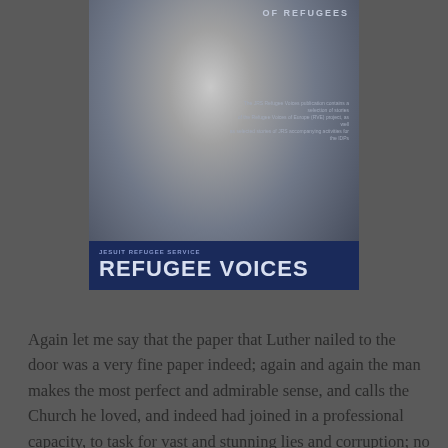[Figure (illustration): Book cover for 'Refugee Voices' by Jesuit Refugee Service, showing a child wearing a hat in a black and white or muted photo. The cover has a dark navy banner at the bottom with 'REFUGEE VOICES' in large white bold text, and a subtitle at top reading 'OF REFUGEES'.]
Again let me say that the paper that Luther nailed to the door was a very fine paper indeed; again and again the man makes the most perfect and admirable sense, and calls the Church he loved, and indeed had joined in a professional capacity, to task for vast and stunning lies and corruption; no reasonable soul could argue with his general propositions that the pope is not actually God, and ought not to be acquisitive financially, and money donated on earth does not actually expurgate the sins of those who have died,